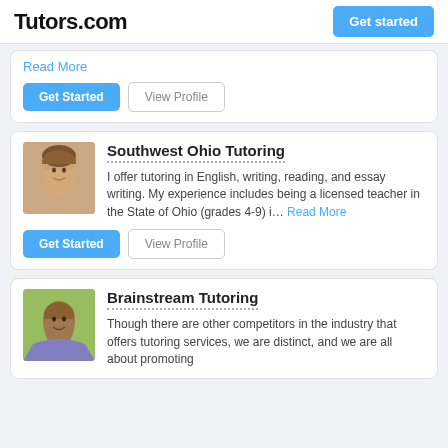Tutors.com
Read More
Get Started  View Profile
Southwest Ohio Tutoring
I offer tutoring in English, writing, reading, and essay writing. My experience includes being a licensed teacher in the State of Ohio (grades 4-9) i... Read More
Get Started  View Profile
Brainstream Tutoring
Though there are other competitors in the industry that offers tutoring services, we are distinct, and we are all about promoting